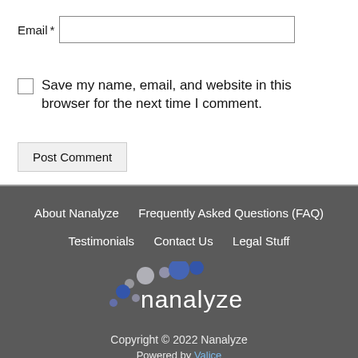Email *
Save my name, email, and website in this browser for the next time I comment.
Post Comment
About Nanalyze   Frequently Asked Questions (FAQ)   Testimonials   Contact Us   Legal Stuff
[Figure (logo): Nanalyze logo with colored circles and white text on dark background]
Copyright © 2022 Nanalyze
Powered by Valice